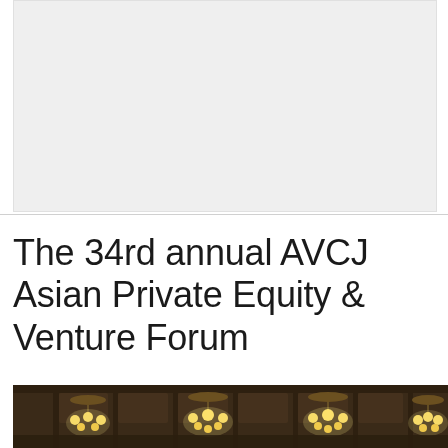[Figure (photo): Large light grey placeholder image area at the top of the page]
The 34rd annual AVCJ Asian Private Equity & Venture Forum
[Figure (photo): Photograph of an ornate ballroom ceiling with multiple golden chandeliers lit up, dark wooden beamed ceiling visible]